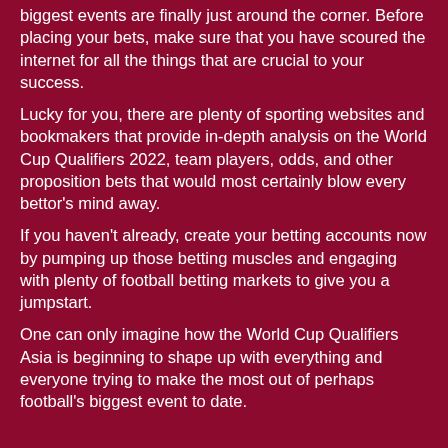biggest events are finally just around the corner. Before placing your bets, make sure that you have scoured the internet for all the things that are crucial to your success.
Lucky for you, there are plenty of sporting websites and bookmakers that provide in-depth analysis on the World Cup Qualifiers 2022, team players, odds, and other proposition bets that would most certainly blow every bettor's mind away.
If you haven't already, create your betting accounts now by pumping up those betting muscles and engaging with plenty of football betting markets to give you a jumpstart.
One can only imagine how the World Cup Qualifiers Asia is beginning to shape up with everything and everyone trying to make the most out of perhaps football's biggest event to date.